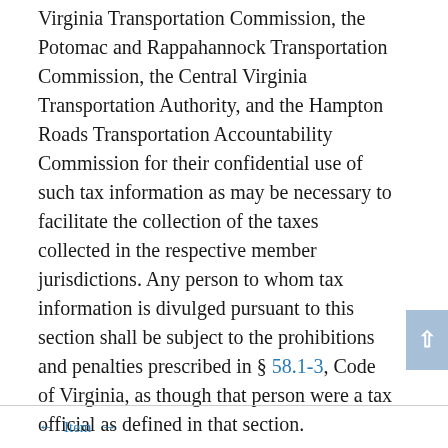Virginia Transportation Commission, the Potomac and Rappahannock Transportation Commission, the Central Virginia Transportation Authority, and the Hampton Roads Transportation Accountability Commission for their confidential use of such tax information as may be necessary to facilitate the collection of the taxes collected in the respective member jurisdictions. Any person to whom tax information is divulged pursuant to this section shall be subject to the prohibitions and penalties prescribed in § 58.1-3, Code of Virginia, as though that person were a tax official as defined in that section.
← Item →